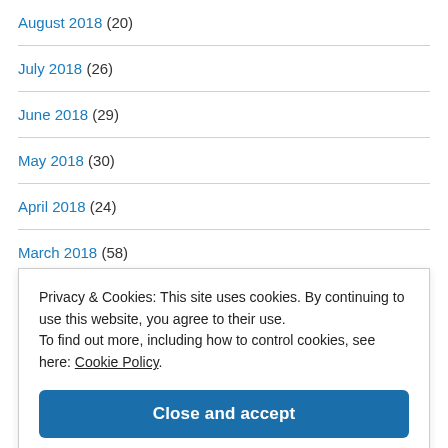August 2018 (20)
July 2018 (26)
June 2018 (29)
May 2018 (30)
April 2018 (24)
March 2018 (58)
Privacy & Cookies: This site uses cookies. By continuing to use this website, you agree to their use. To find out more, including how to control cookies, see here: Cookie Policy
Close and accept